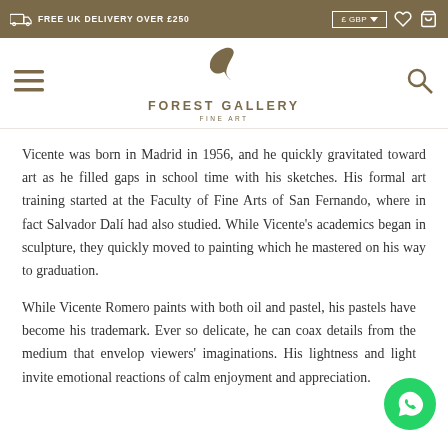FREE UK DELIVERY OVER £250
[Figure (logo): Forest Gallery Fine Art logo with stylized leaf/bird shape above text FOREST GALLERY FINE ART]
Vicente was born in Madrid in 1956, and he quickly gravitated toward art as he filled gaps in school time with his sketches. His formal art training started at the Faculty of Fine Arts of San Fernando, where in fact Salvador Dalí had also studied. While Vicente's academics began in sculpture, they quickly moved to painting which he mastered on his way to graduation.
While Vicente Romero paints with both oil and pastel, his pastels have become his trademark. Ever so delicate, he can coax details from the medium that envelop viewers' imaginations. His lightness and light invite emotional reactions of calm enjoyment and appreciation.